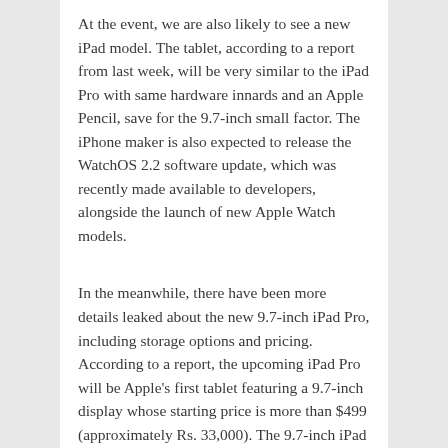At the event, we are also likely to see a new iPad model. The tablet, according to a report from last week, will be very similar to the iPad Pro with same hardware innards and an Apple Pencil, save for the 9.7-inch small factor. The iPhone maker is also expected to release the WatchOS 2.2 software update, which was recently made available to developers, alongside the launch of new Apple Watch models.
In the meanwhile, there have been more details leaked about the new 9.7-inch iPad Pro, including storage options and pricing. According to a report, the upcoming iPad Pro will be Apple's first tablet featuring a 9.7-inch display whose starting price is more than $499 (approximately Rs. 33,000). The 9.7-inch iPad Pro Wi-Fi only model will start at a price of $599 (approximately Rs. 40,000) and will need 32GB of storage. The